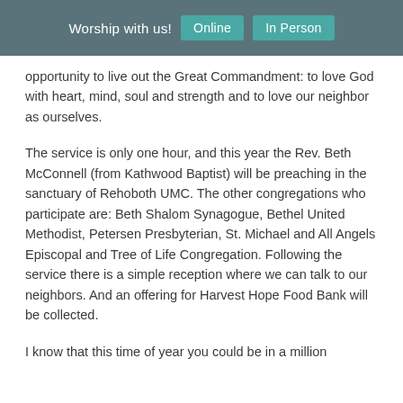Worship with us!  Online  In Person
opportunity to live out the Great Commandment: to love God with heart, mind, soul and strength and to love our neighbor as ourselves.
The service is only one hour, and this year the Rev. Beth McConnell (from Kathwood Baptist) will be preaching in the sanctuary of Rehoboth UMC.  The other congregations who participate are:  Beth Shalom Synagogue, Bethel United Methodist, Petersen Presbyterian, St. Michael and All Angels Episcopal and Tree of Life Congregation.  Following the service there is a simple reception where we can talk to our neighbors.  And an offering for Harvest Hope Food Bank will be collected.
I know that this time of year you could be in a million